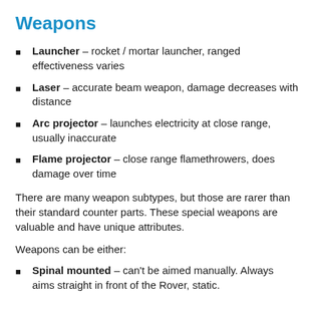Weapons
Launcher – rocket / mortar launcher, ranged effectiveness varies
Laser – accurate beam weapon, damage decreases with distance
Arc projector – launches electricity at close range, usually inaccurate
Flame projector – close range flamethrowers, does damage over time
There are many weapon subtypes, but those are rarer than their standard counter parts. These special weapons are valuable and have unique attributes.
Weapons can be either:
Spinal mounted – can't be aimed manually. Always aims straight in front of the Rover, static.